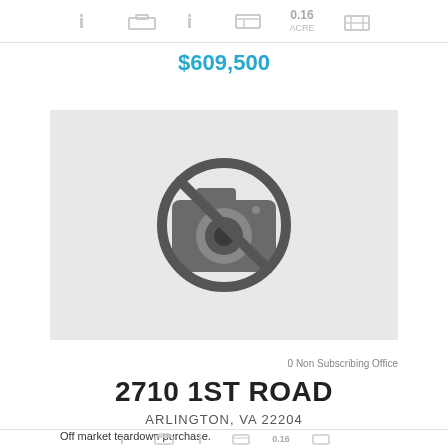0.16 ACRE
$609,500
[Figure (photo): No photo available placeholder — camera icon with a diagonal line through it on a light gray background]
0 Non Subscribing Office
2710 1ST ROAD
ARLINGTON, VA 22204
Off market teardown purchase.